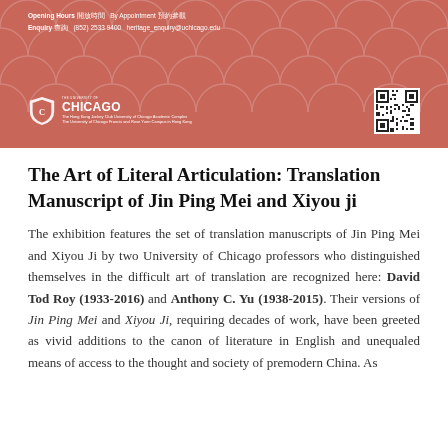[Figure (other): University of Chicago Hong Kong Academic Complex header banner with terracotta/red background, decorative arc pattern, contact info (Opening Hours, By Appointment, Enquiry, phone and email), University of Chicago shield logo with text, and QR code.]
The Art of Literal Articulation: Translation Manuscript of Jin Ping Mei and Xiyou ji
The exhibition features the set of translation manuscripts of Jin Ping Mei and Xiyou Ji by two University of Chicago professors who distinguished themselves in the difficult art of translation are recognized here: David Tod Roy (1933-2016) and Anthony C. Yu (1938-2015). Their versions of Jin Ping Mei and Xiyou Ji, requiring decades of work, have been greeted as vivid additions to the canon of literature in English and unequaled means of access to the thought and society of premodern China. As